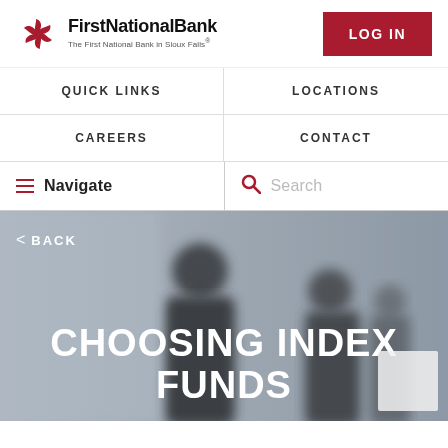[Figure (logo): First National Bank logo with red pinwheel graphic and text 'FirstNationalBank - The First National Bank in Sioux Falls']
LOG IN
QUICK LINKS
LOCATIONS
CAREERS
CONTACT
Navigate
Search
[Figure (photo): Blurred background photo of business people shaking hands in an office environment]
< BACK
CHOOSING INDEX FUNDS